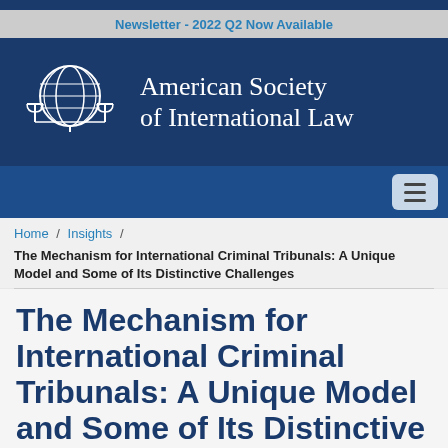Newsletter - 2022 Q2 Now Available
[Figure (logo): American Society of International Law logo with globe and scales of justice icon on dark blue background]
Home / Insights / The Mechanism for International Criminal Tribunals: A Unique Model and Some of Its Distinctive Challenges
The Mechanism for International Criminal Tribunals: A Unique Model and Some of Its Distinctive Challenges